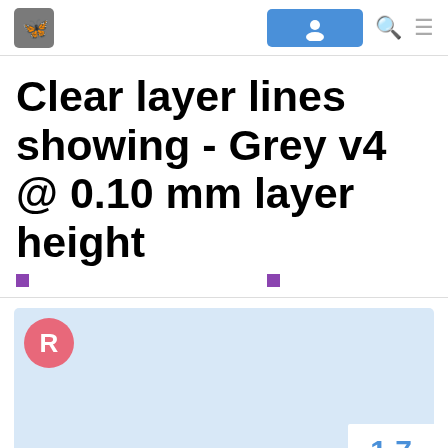Forum navigation header with logo, login button, search and menu icons
Clear layer lines showing - Grey v4 @ 0.10 mm layer height
[Figure (screenshot): Forum post reply area with avatar 'R' in pink circle on light blue background, and page number '1 7' in bottom right]